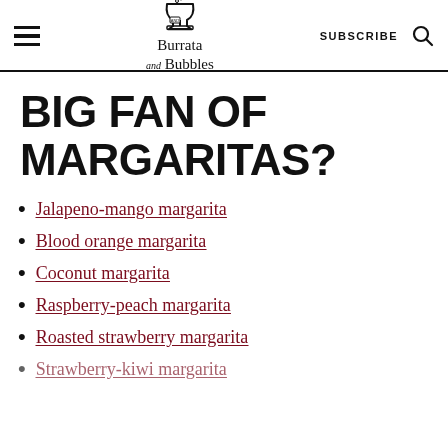Burrata and Bubbles — SUBSCRIBE
BIG FAN OF MARGARITAS?
Jalapeno-mango margarita
Blood orange margarita
Coconut margarita
Raspberry-peach margarita
Roasted strawberry margarita
Strawberry-kiwi margarita